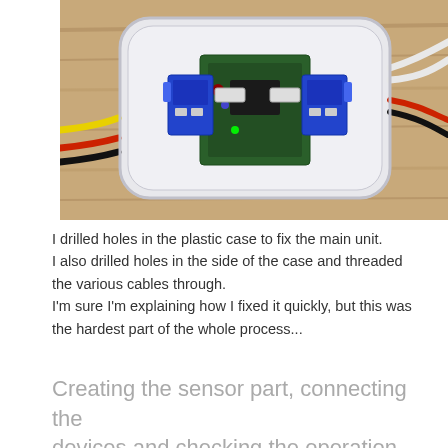[Figure (photo): Top-down photo of an electronic circuit board (blue relay module with wires) mounted inside a white plastic food container, sitting on a wooden surface. Multiple colored wires (yellow, red, black, white) exit from the sides of the container.]
I drilled holes in the plastic case to fix the main unit. I also drilled holes in the side of the case and threaded the various cables through. I'm sure I'm explaining how I fixed it quickly, but this was the hardest part of the whole process...
Creating the sensor part, connecting the devices and checking the operation.